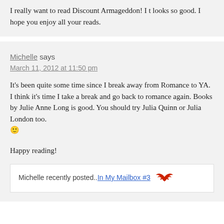I really want to read Discount Armageddon! I t looks so good. I hope you enjoy all your reads.
Michelle says
March 11, 2012 at 11:50 pm
It's been quite some time since I break away from Romance to YA. I think it's time I take a break and go back to romance again. Books by Julie Anne Long is good. You should try Julia Quinn or Julia London too. 🙂
Happy reading!
Michelle recently posted..In My Mailbox #3